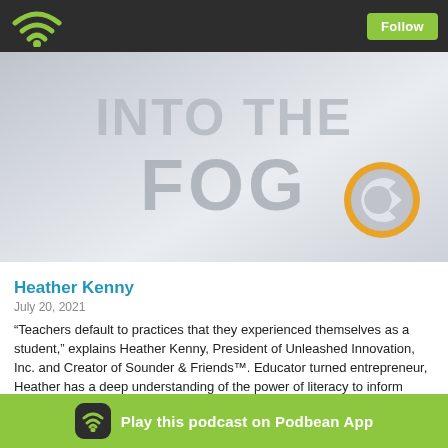Follow
[Figure (illustration): Podcast cover art showing 'INTO THE FOG' text in large gray letters on a light gray background, with a circular orange and gray logo badge in the bottom right corner]
Heather Kenny
July 20, 2021
“Teachers default to practices that they experienced themselves as a student,” explains Heather Kenny, President of Unleashed Innovation, Inc. and Creator of Sounder & Friends™. Educator turned entrepreneur, Heather has a deep understanding of the power of literacy to inform one’s life trajectory. Unfortunately, progress is quite slow in the educational world surrounding evidence-b... revert back to the strategies that they encountered as students, which are
Play this podcast on Podbean App